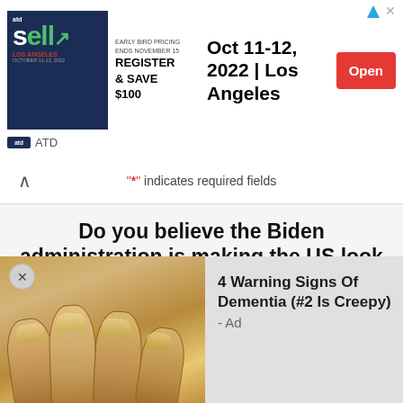[Figure (screenshot): ATD Sell advertisement banner: Oct 11-12, 2022 | Los Angeles with Register & Save $100 and Open button]
"*" indicates required fields
Do you believe the Biden administration is making the US look weak? *
Yes
No
Email *
[Figure (photo): Close-up photo of fingers/hand with yellowish nails, part of a dementia warning signs advertisement overlay]